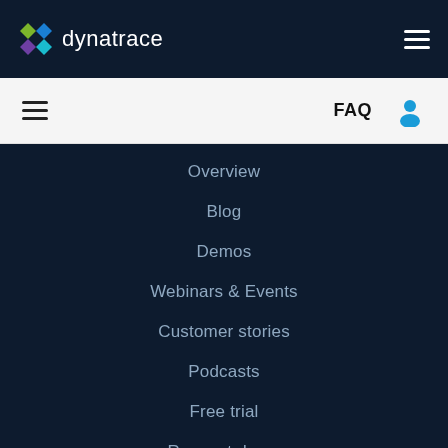[Figure (logo): Dynatrace logo with colorful cube icon and white text on dark navy background]
FAQ
Overview
Blog
Demos
Webinars & Events
Customer stories
Podcasts
Free trial
Request demo
Services & Support